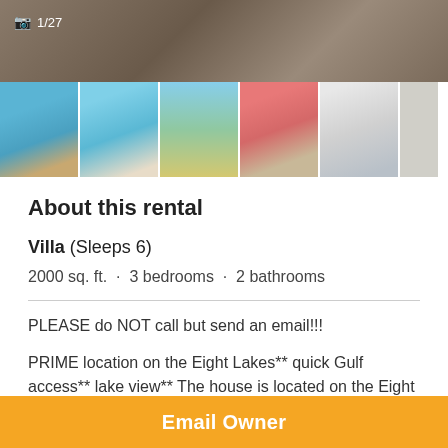[Figure (photo): Hero image of property exterior/patio with stone tiles, viewed from above, with photo counter overlay showing 1/27]
[Figure (photo): Strip of 6 property thumbnail photos showing pool, exterior, yard, deck chairs, living room interior]
About this rental
Villa (Sleeps 6)
2000 sq. ft.  ·  3 bedrooms  ·  2 bathrooms
PLEASE do NOT call but send an email!!!
PRIME location on the Eight Lakes** quick Gulf access** lake view** The house is located on the Eight Lakes with an outstanding water view/cul-de-sac, very quiet
Email Owner